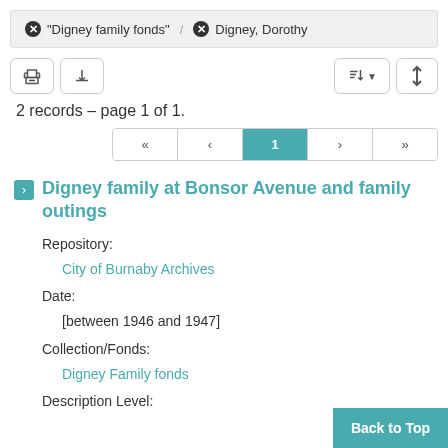"Digney family fonds" / Digney, Dorothy
2 records – page 1 of 1.
Digney family at Bonsor Avenue and family outings
Repository:
    City of Burnaby Archives
Date:
    [between 1946 and 1947]
Collection/Fonds:
    Digney Family fonds
Description Level: